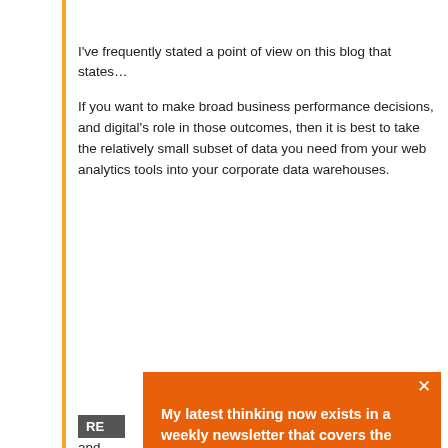I've frequently stated a point of view on this blog that states…
If you want to make broad business performance decisions, and digital's role in those outcomes, then it is best to take the relatively small subset of data you need from your web analytics tools into your corporate data warehouses.
If y… and… be… ma… ana…
So…
Avi…
[Figure (screenshot): Orange popup modal overlay with newsletter signup. Text reads: 'My latest thinking now exists in a weekly newsletter that covers the world of Analytics, Marketing & Leadership.' followed by 'Interested in thinking smart & moving fast?' and a black button 'Join The Movement'. A white X close button is in the top right corner.]
RE…